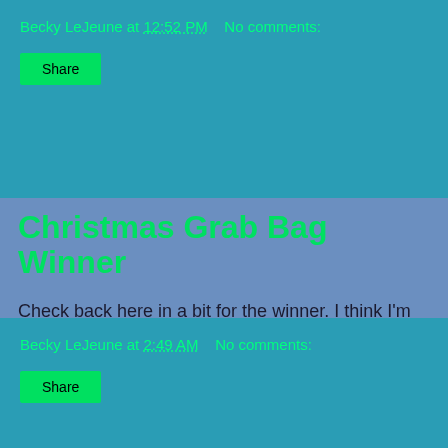Becky LeJeune at 12:52 PM   No comments:
Share
Christmas Grab Bag Winner
Check back here in a bit for the winner. I think I'm giving away two packs for this one, but I am totally beat and will have to do it after I get some sleep. I'll announce the winners here and e-mail them as well, if I have e-mail contacts.
Thanks guys and I hope you all had a great Thanksgiving! I'll be taking a break on giveaways until the new year after this one.
Becky LeJeune at 2:49 AM   No comments:
Share